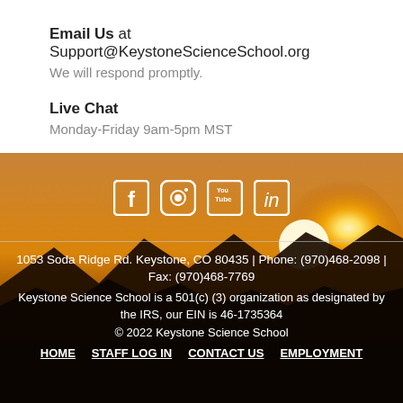Email Us at Support@KeystoneScienceSchool.org
We will respond promptly.
Live Chat
Monday-Friday 9am-5pm MST
[Figure (illustration): Mountain sunset landscape background with social media icons (Facebook, Instagram, YouTube, LinkedIn) overlaid in white]
1053 Soda Ridge Rd. Keystone, CO 80435 | Phone: (970)468-2098 | Fax: (970)468-7769
Keystone Science School is a 501(c) (3) organization as designated by the IRS, our EIN is 46-1735364
© 2022 Keystone Science School
HOME   STAFF LOG IN   CONTACT US   EMPLOYMENT